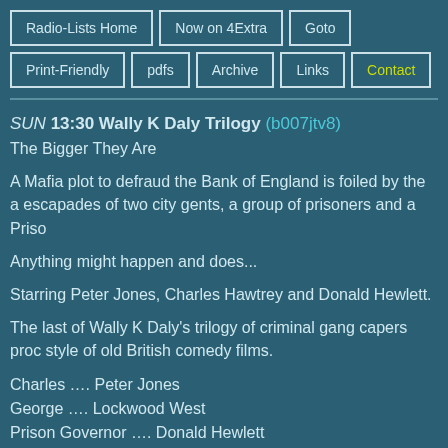Radio-Lists Home | Now on 4Extra | Goto | Print-Friendly | pdfs | Archive | Links | Contact
SUN 13:30 Wally K Daly Trilogy (b007jtv8)
The Bigger They Are
A Mafia plot to defraud the Bank of England is foiled by the antics and escapades of two city gents, a group of prisoners and a Prison Governor.
Anything might happen and does...
Starring Peter Jones, Charles Hawtrey and Donald Hewlett.
The last of Wally K Daly's trilogy of criminal gang capers produced in the style of old British comedy films.
Charles …. Peter Jones
George …. Lockwood West
Prison Governor …. Donald Hewlett
Fingers …. Charles Hawtrey